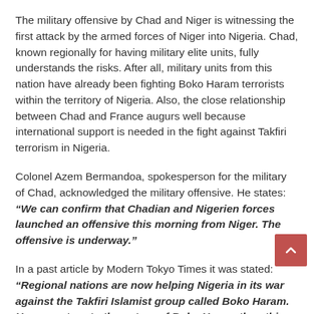The military offensive by Chad and Niger is witnessing the first attack by the armed forces of Niger into Nigeria. Chad, known regionally for having military elite units, fully understands the risks. After all, military units from this nation have already been fighting Boko Haram terrorists within the territory of Nigeria. Also, the close relationship between Chad and France augurs well because international support is needed in the fight against Takfiri terrorism in Nigeria.
Colonel Azem Bermandoa, spokesperson for the military of Chad, acknowledged the military offensive. He states: "We can confirm that Chadian and Nigerien forces launched an offensive this morning from Niger. The offensive is underway."
In a past article by Modern Tokyo Times it was stated: "Regional nations are now helping Nigeria in its war against the Takfiri Islamist group called Boko Haram. However, true to the nature of Boko Haram then this terrorist organization is now launching attacks against other nations, for example Chad, Niger and Cameroon